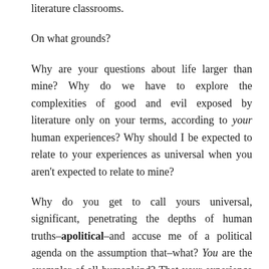literature classrooms.
On what grounds?
Why are your questions about life larger than mine? Why do we have to explore the complexities of good and evil exposed by literature only on your terms, according to your human experiences? Why should I be expected to relate to your experiences as universal when you aren't expected to relate to mine?
Why do you get to call yours universal, significant, penetrating the depths of human truths–apolitical–and accuse me of a political agenda on the assumption that–what? You are the exemplar of all humankind? That your experience of race, and trust me, you do